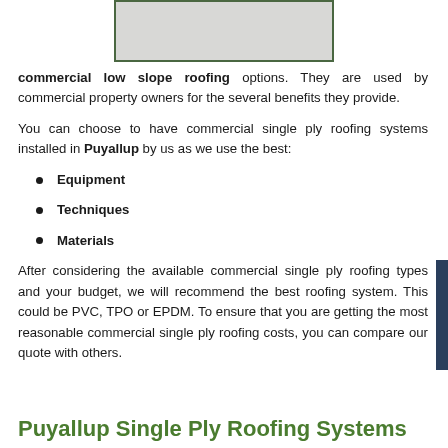[Figure (photo): Image placeholder showing a light gray rectangle with dark green border, likely a roofing photo]
commercial low slope roofing options. They are used by commercial property owners for the several benefits they provide.
You can choose to have commercial single ply roofing systems installed in Puyallup by us as we use the best:
Equipment
Techniques
Materials
After considering the available commercial single ply roofing types and your budget, we will recommend the best roofing system. This could be PVC, TPO or EPDM. To ensure that you are getting the most reasonable commercial single ply roofing costs, you can compare our quote with others.
Puyallup Single Ply Roofing Systems